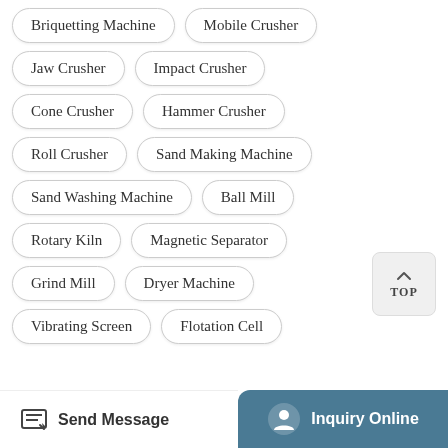Briquetting Machine
Mobile Crusher
Jaw Crusher
Impact Crusher
Cone Crusher
Hammer Crusher
Roll Crusher
Sand Making Machine
Sand Washing Machine
Ball Mill
Rotary Kiln
Magnetic Separator
Grind Mill
Dryer Machine
Vibrating Screen
Flotation Cell
Send Message
Inquiry Online